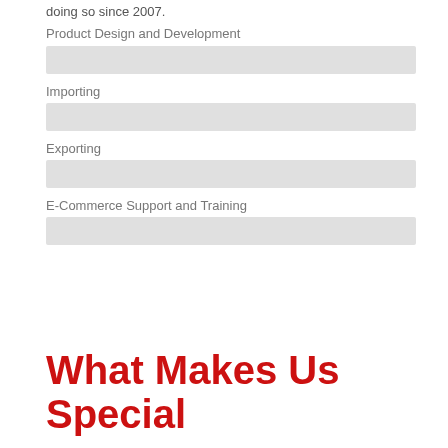doing so since 2007.
Product Design and Development
[Figure (other): Gray placeholder bar for Product Design and Development]
Importing
[Figure (other): Gray placeholder bar for Importing]
Exporting
[Figure (other): Gray placeholder bar for Exporting]
E-Commerce Support and Training
[Figure (other): Gray placeholder bar for E-Commerce Support and Training]
What Makes Us Special